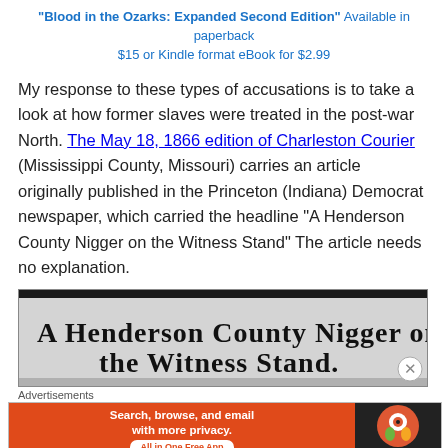"Blood in the Ozarks: Expanded Second Edition" Available in paperback $15 or Kindle format eBook for $2.99
My response to these types of accusations is to take a look at how former slaves were treated in the post-war North. The May 18, 1866 edition of Charleston Courier (Mississippi County, Missouri) carries an article originally published in the Princeton (Indiana) Democrat newspaper, which carried the headline “A Henderson County Nigger on the Witness Stand” The article needs no explanation.
[Figure (photo): Blurry photograph of a newspaper headline reading 'A Henderson County Nigger on the Witness Stand.']
Advertisements
[Figure (screenshot): DuckDuckGo advertisement banner: 'Search, browse, and email with more privacy. All in One Free App']